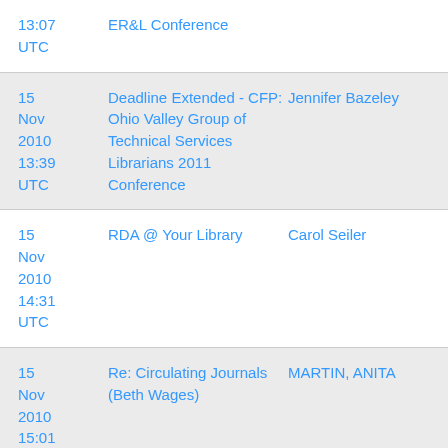| Date | Subject | Author |
| --- | --- | --- |
| 15 Nov 2010 13:07 UTC | ER&L Conference |  |
| 15 Nov 2010 13:39 UTC | Deadline Extended - CFP: Ohio Valley Group of Technical Services Librarians 2011 Conference | Jennifer Bazeley |
| 15 Nov 2010 14:31 UTC | RDA @ Your Library | Carol Seiler |
| 15 Nov 2010 15:01 UTC | Re: Circulating Journals (Beth Wages) | MARTIN, ANITA |